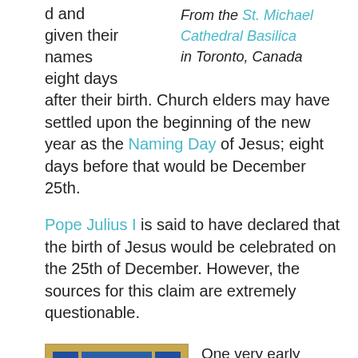d and given their names eight days after their birth. Church elders may have settled upon the beginning of the new year as the Naming Day of Jesus; eight days before that would be December 25th.
From the St. Michael Cathedral Basilica in Toronto, Canada
Pope Julius I is said to have declared that the birth of Jesus would be celebrated on the 25th of December. However, the sources for this claim are extremely questionable.
[Figure (photo): Stained glass image from St. Michael Cathedral Basilica showing a dove (Holy Spirit) with wings spread, surrounded by blue glass and stars]
One very early Christian tradition held that on March 25th the Angel Gabriel told